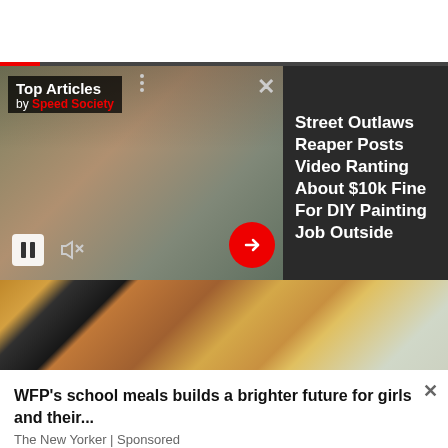[Figure (screenshot): Video player showing a car being painted, with Top Articles / Speed Society overlay. Article panel on right: 'Street Outlaws Reaper Posts Video Ranting About $10k Fine For DIY Painting Job Outside'. Controls include pause, mute, three-dots, X close, and red arrow button.]
Top Articles
by Speed Society
Street Outlaws Reaper Posts Video Ranting About $10k Fine For DIY Painting Job Outside
[Figure (photo): Photo of African girl in red headscarf with other children in background.]
WFP's school meals builds a brighter future for girls and their...
The New Yorker | Sponsored
VFP's school meals builds a brighter